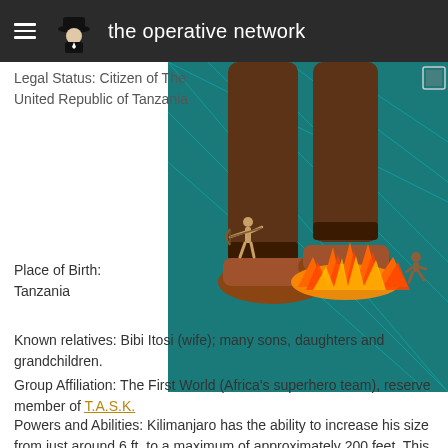the operative network
[Figure (illustration): Comic book illustration showing giant feet in sandals stepping/kicking, with fire at the base, a small archer figure in tan, and a small running figure, against a blue grid/teal background.]
Legal Status: Citizen of The United Republic of Tanzania
Place of Birth: Tanzania
Known relatives: Bibi Itosi (wife); many sons, daughters and grandchildren.
Group Affiliation: The First World (Africa's superhero team), reserve member of T.A.S.K.
Powers and Abilities: Kilimanjaro has the ability to increase his size from just around 6 ft. to a maximum of approximately 200 feet. This ability comes from